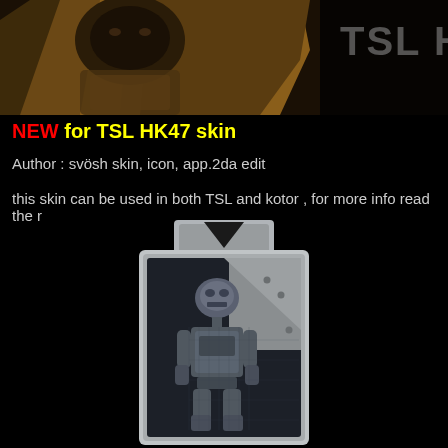[Figure (photo): Banner image showing HK-47 robot character in golden/bronze armor with TSL watermark text in top right]
NEW for TSL HK47 skin
Author : svösh skin, icon, app.2da edit
this skin can be used in both TSL and kotor , for more info read the r
[Figure (photo): In-game icon/card showing HK-47 robot character in blue-gray metallic tones on a metallic card with rivets]